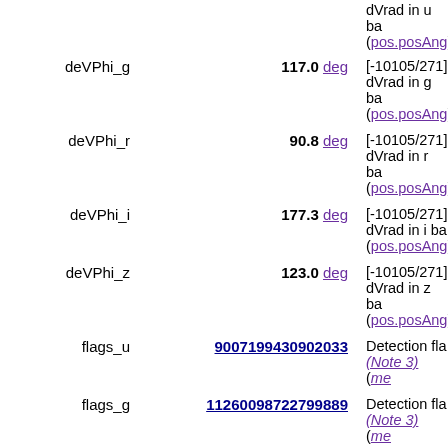| Name | Value | Description |
| --- | --- | --- |
| deVPhi_g | 117.0 deg | [-10105/271] dVrad in g band (pos.posAng) |
| deVPhi_r | 90.8 deg | [-10105/271] dVrad in r band (pos.posAng) |
| deVPhi_i | 177.3 deg | [-10105/271] dVrad in i band (pos.posAng) |
| deVPhi_z | 123.0 deg | [-10105/271] dVrad in z band (pos.posAng) |
| flags_u | 9007199430902033 | Detection flags (Note 3) (me... |
| flags_g | 11260098722799889 | Detection flags (Note 3) (me... |
| flags_r | 11258999244620049 | Detection flags (Note 3) (me... |
| flags_i | 4503874815656208 | Detection flags (Note 3) (me... |
| flags_z | 2322168994070545 | Detection flags |